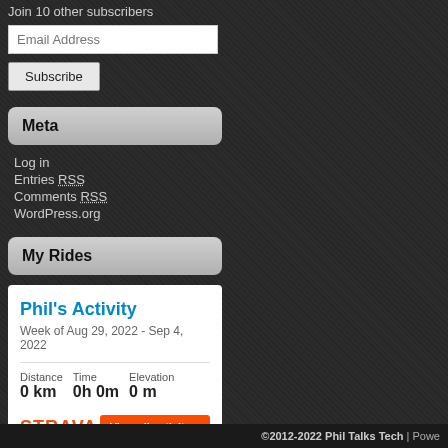Join 10 other subscribers
Email Address
Subscribe
Meta
Log in
Entries RSS
Comments RSS
WordPress.org
My Rides
[Figure (infographic): Strava activity widget showing Phil's Activity for Week of Aug 29, 2022 - Sep 4, 2022. Distance: 0 km, Time: 0h 0m, Elevation: 0 m. Strava logo and View all activity button.]
©2012-2022 Phil Talks Tech | Powe